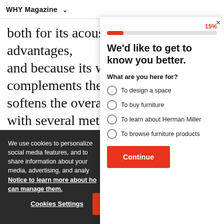WHY Magazine ▾
both for its acoustic and weight advantages, and because its warm complements the nic softens the overall ae with several methods wood ring—including
[Figure (screenshot): Modal dialog with progress bar at 15%, title 'We'd like to get to know you better.', question 'What are you here for?' with four radio options: 'To design a space', 'To buy furniture', 'To learn about Herman Miller', 'To browse furniture products', and a red Continue button. A close X button is in the top right corner.]
We use cookies to personalize social media features, and to share information about your media, advertising, and analy Notice to learn more about ho can manage them.
Cookies Settings
Accept All Cookies